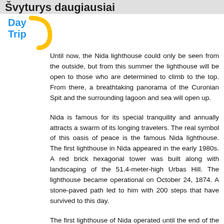Švyturys daugiausiai
[Figure (logo): Day Trip logo with yellow arc and blue text]
Until now, the Nida lighthouse could only be seen from the outside, but from this summer the lighthouse will be open to those who are determined to climb to the top. From there, a breathtaking panorama of the Curonian Spit and the surrounding lagoon and sea will open up.
Nida is famous for its special tranquility and annually attracts a swarm of its longing travelers. The real symbol of this oasis of peace is the famous Nida lighthouse. The first lighthouse in Nida appeared in the early 1980s. A red brick hexagonal tower was built along with landscaping of the 51.4-meter-high Urbas Hill. The lighthouse became operational on October 24, 1874. A stone-paved path led to him with 200 steps that have survived to this day.
The first lighthouse of Nida operated until the end of the Second World War - it was blown up by retreating German soldiers. However, already in 1945 the lighthouse was rebuilt. After the world did it the...